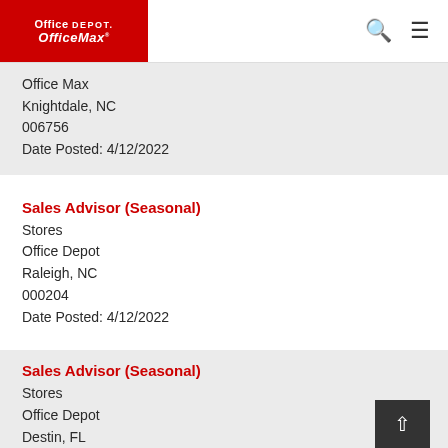Office Depot OfficeMax
Office Max
Knightdale, NC
006756
Date Posted: 4/12/2022
Sales Advisor (Seasonal)
Stores
Office Depot
Raleigh, NC
000204
Date Posted: 4/12/2022
Sales Advisor (Seasonal)
Stores
Office Depot
Destin, FL
002328